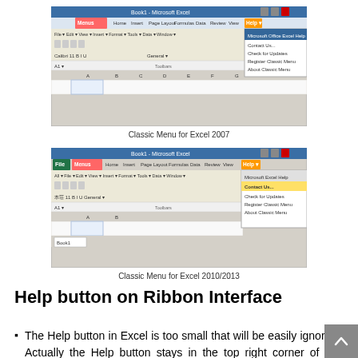[Figure (screenshot): Screenshot of Classic Menu for Excel 2007 showing the Menus ribbon tab and Help dropdown menu open]
Classic Menu for Excel 2007
[Figure (screenshot): Screenshot of Classic Menu for Excel 2010/2013 showing the Menus ribbon tab and Help dropdown menu open with Contact Us highlighted]
Classic Menu for Excel 2010/2013
Help button on Ribbon Interface
The Help button in Excel is too small that will be easily ignored. Actually the Help button stays in the top right corner of the window. The button